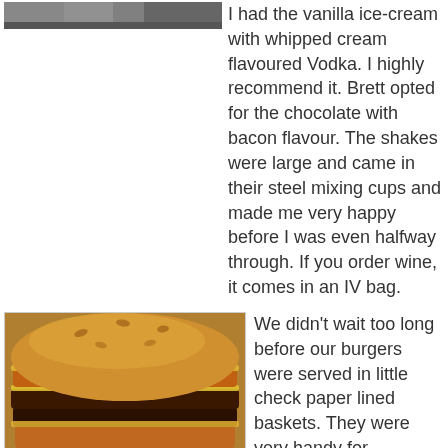[Figure (photo): Partial image of people or food at top left corner of page, cropped]
I had the vanilla ice-cream with whipped cream flavoured Vodka. I highly recommend it. Brett opted for the chocolate with bacon flavour. The shakes were large and came in their steel mixing cups and made me very happy before I was even halfway through. If you order wine, it comes in an IV bag.
[Figure (photo): Close-up photo of a large burger cut in half, showing multiple meat patties and cheese layers, served in a checkered paper-lined basket]
We didn't wait too long before our burgers were served in little check paper lined baskets. They were very handy for containing the inevitable fallout. The burgers were skewered with a toothpick so bonus points for assembly.
[Figure (photo): Photo of a burger bun from above, partially visible at bottom of page]